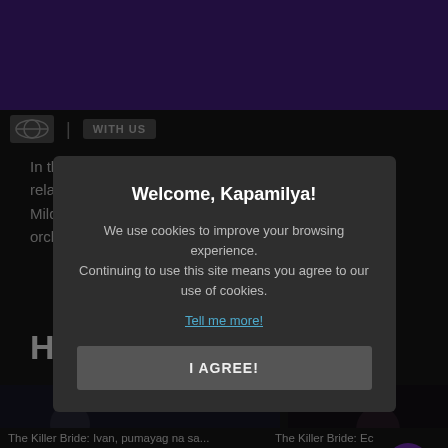[Figure (screenshot): Purple header bar at top of webpage]
WITH US
In the previous episodes, a series of events marred the relationship among Luna (Alexa Ilacad)'s squad. First, Mildred (Vivoree Esclito) was put as a subject of prank orchestrated by her own friends. She received a
HIGHL
[Figure (screenshot): Cookie consent modal dialog with title 'Welcome, Kapamilya!' and body text about cookies, a 'Tell me more!' link, and an 'I AGREE!' button]
The Killer Bride: Ivan, pumayag na sa...
The Killer Bride: Ec